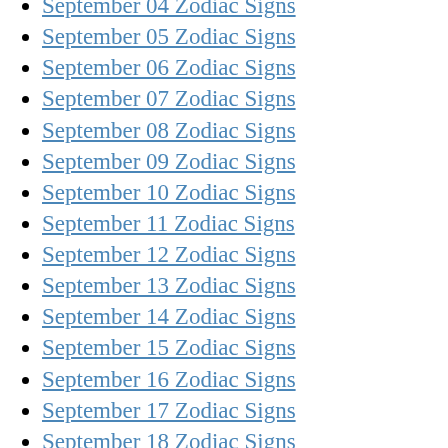September 04 Zodiac Signs
September 05 Zodiac Signs
September 06 Zodiac Signs
September 07 Zodiac Signs
September 08 Zodiac Signs
September 09 Zodiac Signs
September 10 Zodiac Signs
September 11 Zodiac Signs
September 12 Zodiac Signs
September 13 Zodiac Signs
September 14 Zodiac Signs
September 15 Zodiac Signs
September 16 Zodiac Signs
September 17 Zodiac Signs
September 18 Zodiac Signs
September 19 Zodiac Signs
September 20 Zodiac Signs
September 21 Zodiac Signs